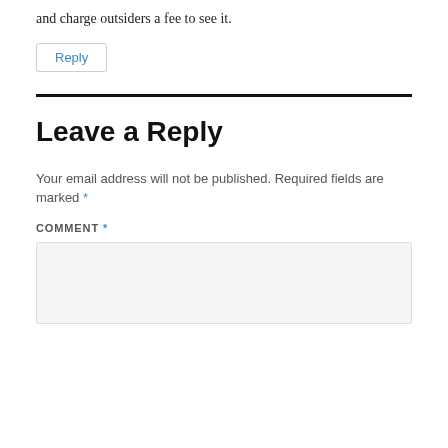and charge outsiders a fee to see it.
Reply
Leave a Reply
Your email address will not be published. Required fields are marked *
COMMENT *
[Figure (other): Empty comment text area input box]